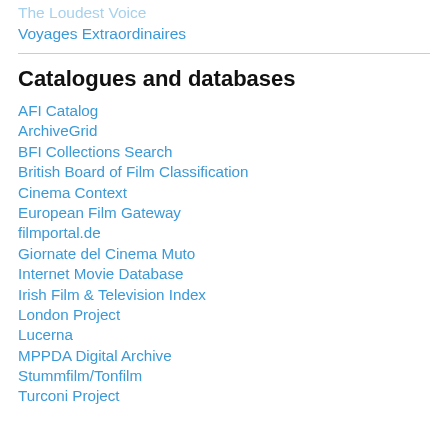The Loudest Voice
Voyages Extraordinaires
Catalogues and databases
AFI Catalog
ArchiveGrid
BFI Collections Search
British Board of Film Classification
Cinema Context
European Film Gateway
filmportal.de
Giornate del Cinema Muto
Internet Movie Database
Irish Film & Television Index
London Project
Lucerna
MPPDA Digital Archive
Stummfilm/Tonfilm
Turconi Project